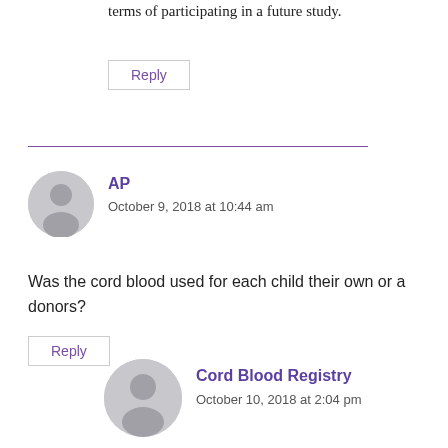terms of participating in a future study.
Reply
AP
October 9, 2018 at 10:44 am
Was the cord blood used for each child their own or a donors?
Reply
Cord Blood Registry
October 10, 2018 at 2:04 pm